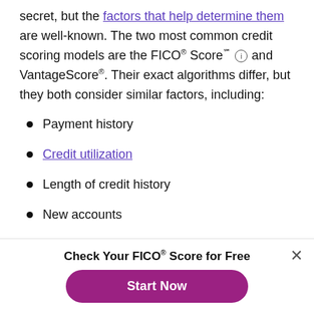secret, but the factors that help determine them are well-known. The two most common credit scoring models are the FICO® Score℠ ⓘ and VantageScore®. Their exact algorithms differ, but they both consider similar factors, including:
Payment history
Credit utilization
Length of credit history
New accounts
Credit mix
Check Your FICO® Score for Free
Start Now